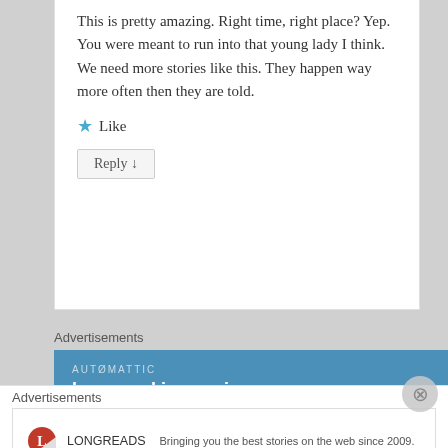This is pretty amazing. Right time, right place? Yep. You were meant to run into that young lady I think. We need more stories like this. They happen way more often then they are told.
★ Like
Reply ↓
Advertisements
[Figure (other): Automattic advertisement banner with text 'AUTOMATTIC' and tagline 'Love working again.' on blue background]
[Figure (other): Advertisements section at bottom with Longreads logo and text 'Bringing you the best stories on the web since 2009.']